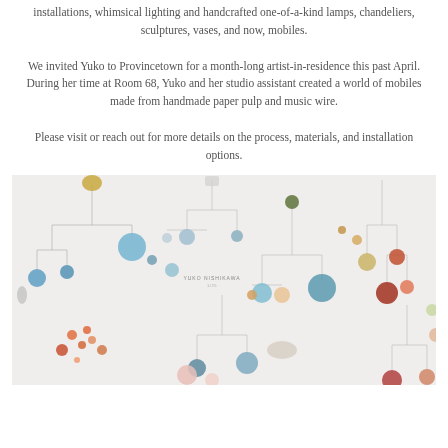installations, whimsical lighting and handcrafted one-of-a-kind lamps, chandeliers, sculptures, vases, and now, mobiles.
We invited Yuko to Provincetown for a month-long artist-in-residence this past April. During her time at Room 68, Yuko and her studio assistant created a world of mobiles made from handmade paper pulp and music wire.
Please visit or reach out for more details on the process, materials, and installation options.
[Figure (photo): Photograph of an art installation featuring colorful handmade paper pulp mobiles hanging from wires against a white wall. The mobiles consist of circular and oval shapes in various colors including blue, teal, ochre, red, orange, pink, and beige. A small label reading 'YUKO NISHIKAWA' is visible in the center of the image.]